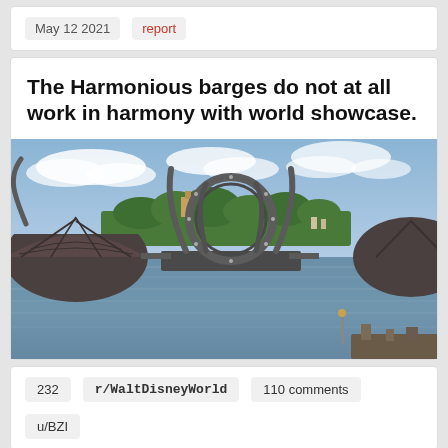May 12 2021   report
The Harmonious barges do not at all work in harmony with world showcase.
[Figure (photo): Photograph of Harmonious barges floating on a lake at EPCOT World Showcase, showing large circular ring structures and curved mechanical arms on floating platforms, with trees, buildings and a blue sky with clouds in the background.]
232   r/WaltDisneyWorld   110 comments   u/BZI